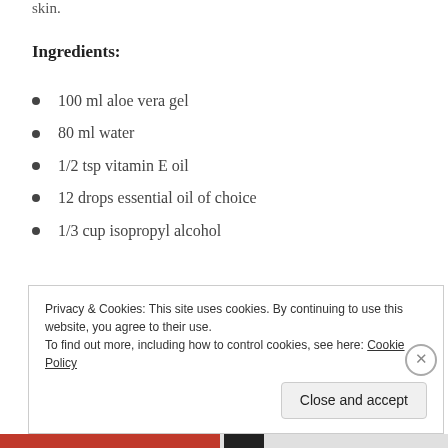skin.
Ingredients:
100 ml aloe vera gel
80 ml water
1/2 tsp vitamin E oil
12 drops essential oil of choice
1/3 cup isopropyl alcohol
The original recipe had 1/4 tsp of vitamin E oil, which I doubled in the hope of preventing the nasty dryness and
Privacy & Cookies: This site uses cookies. By continuing to use this website, you agree to their use.
To find out more, including how to control cookies, see here: Cookie Policy
Close and accept